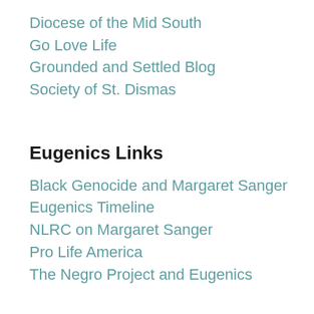Diocese of the Mid South
Go Love Life
Grounded and Settled Blog
Society of St. Dismas
Eugenics Links
Black Genocide and Margaret Sanger
Eugenics Timeline
NLRC on Margaret Sanger
Pro Life America
The Negro Project and Eugenics